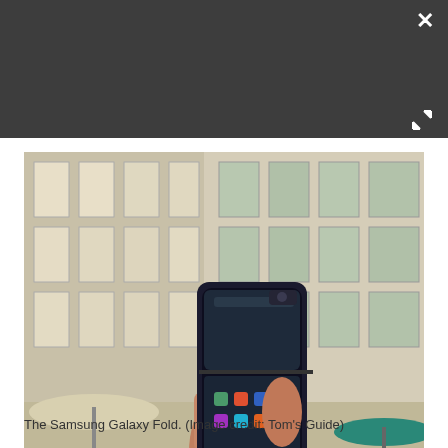[Figure (photo): A hand holding a Samsung Galaxy Fold smartphone (open/folded position) outdoors against a building with glass windows. Market umbrellas visible in background.]
The Samsung Galaxy Fold. (Image credit: Tom's Guide)